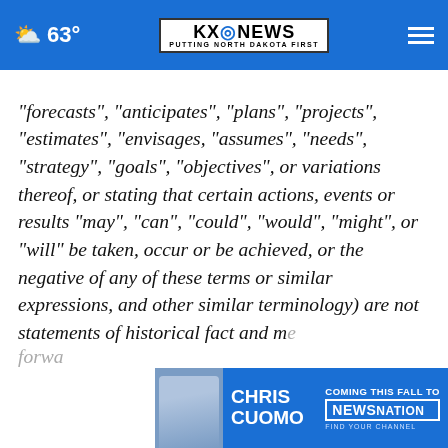KXO NEWS — PUTTING NORTH DAKOTA FIRST | 63°
"forecasts", "anticipates", "plans", "projects", "estimates", "envisages, "assumes", "needs", "strategy", "goals", "objectives", or variations thereof, or stating that certain actions, events or results "may", "can", "could", "would", "might", or "will" be taken, occur or be achieved, or the negative of any of these terms or similar expressions, and other similar terminology) are not statements of historical fact and m…e forwa…
[Figure (screenshot): Chris Cuomo Coming This Fall to NewsNation advertisement banner]